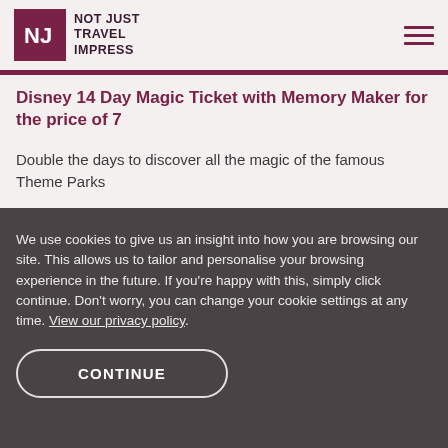[Figure (logo): Not Just Travel Impress logo with NJ monogram in dark maroon square and text 'NOT JUST TRAVEL IMPRESS']
Disney 14 Day Magic Ticket with Memory Maker for the price of 7
Double the days to discover all the magic of the famous Theme Parks
We use cookies to give us an insight into how you are browsing our site. This allows us to tailor and personalise your browsing experience in the future. If you're happy with this, simply click continue. Don't worry, you can change your cookie settings at any time. View our privacy policy.